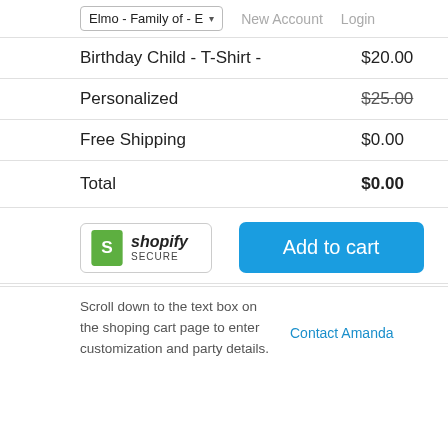Elmo - Family of - E   New Account   Login
| Birthday Child - T-Shirt - | $20.00 |
| Personalized | $25.00 (strikethrough) |
| Free Shipping | $0.00 |
| Total | $0.00 |
[Figure (logo): Shopify Secure badge logo]
Add to cart
Scroll down to the text box on the shoping cart page to enter customization and party details.
Contact Amanda